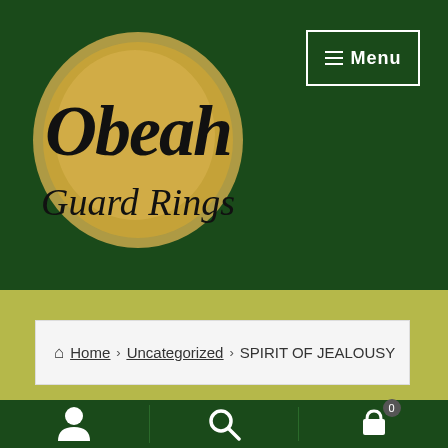[Figure (logo): Obeah Guard Rings logo — gold brushstroke circle on dark green background with cursive black text 'Obeah Guard Rings']
≡ Menu
🏠 Home > Uncategorized > SPIRIT OF JEALOUSY
user icon | search icon | cart icon (0)